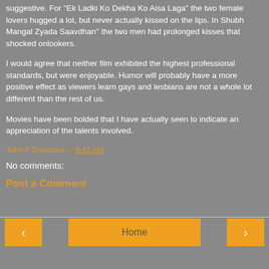suggestive. For "Ek Ladki Ko Dekha Ko Aisa Laga" the two female lovers hugged a lot, but never actually kissed on the lips. In Shubh Mangal Zyada Saavdhan" the two men had prolonged kisses that shocked onlookers.
I would agree that neither film exhibited the highest professional standards, but were enjoyable. Humor will probably have a more positive effect as viewers learn gays and lesbians are not a whole lot different than the rest of us.
Movies have been bolded that I have actually seen to indicate an appreciation of the talents involved.
John F Davidson at 5:42 AM
No comments:
Post a Comment